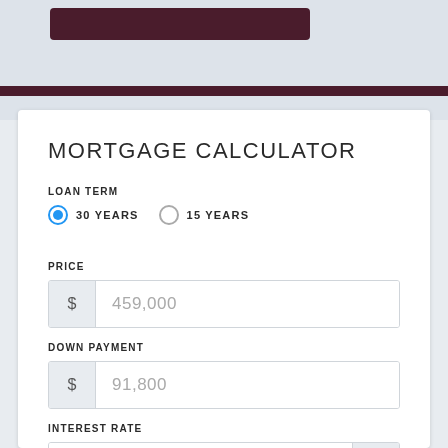[Figure (screenshot): Top banner area with dark maroon button and horizontal bar]
MORTGAGE CALCULATOR
LOAN TERM
30 YEARS    15 YEARS
PRICE
$ 459,000
DOWN PAYMENT
$ 91,800
INTEREST RATE
5.13  %